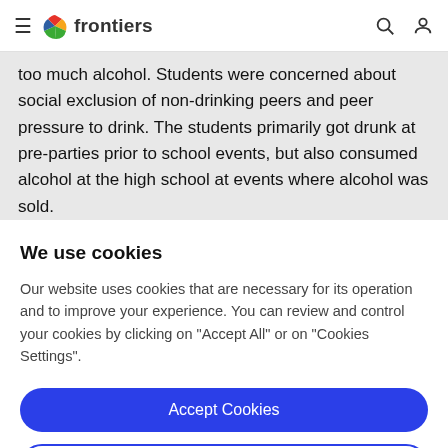frontiers
too much alcohol. Students were concerned about social exclusion of non-drinking peers and peer pressure to drink. The students primarily got drunk at pre-parties prior to school events, but also consumed alcohol at the high school at events where alcohol was sold.
We use cookies
Our website uses cookies that are necessary for its operation and to improve your experience. You can review and control your cookies by clicking on "Accept All" or on "Cookies Settings".
Accept Cookies
Cookies Settings